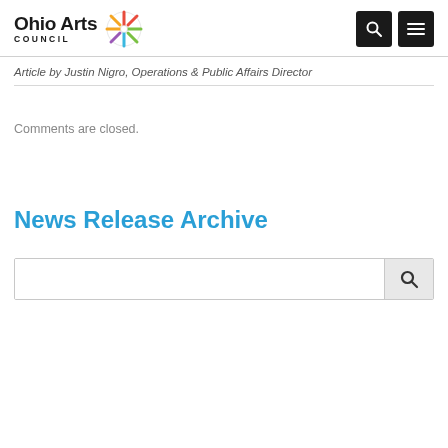Ohio Arts Council
Article by Justin Nigro, Operations & Public Affairs Director
Comments are closed.
News Release Archive